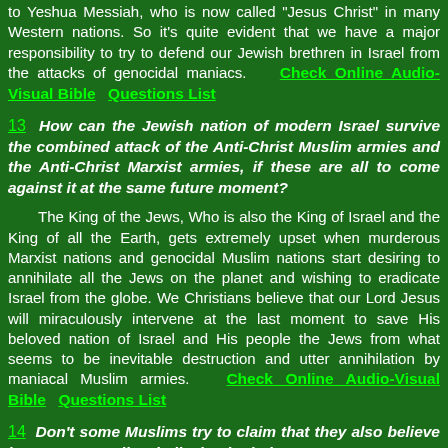to Yeshua Messiah, who is now called "Jesus Christ" in many Western nations. So it's quite evident that we have a major responsibility to try to defend our Jewish brethren in Israel from the attacks of genocidal maniacs. Check Online Audio-Visual Bible   Questions List
13  How can the Jewish nation of modern Israel survive the combined attack of the Anti-Christ Muslim armies and the Anti-Christ Marxist armies, if these are all to come against it at the same future moment?
The King of the Jews, Who is also the King of Israel and the King of all the Earth, gets extremely upset when murderous Marxist nations and genocidal Muslim nations start desiring to annihilate all the Jews on the planet and wishing to eradicate Israel from the globe. We Christians believe that our Lord Jesus will miraculously intervene at the last moment to save His beloved nation of Israel and His people the Jews from what seems to be inevitable destruction and utter annihilation by maniacal Muslim armies. Check Online Audio-Visual Bible   Questions List
14  Don't some Muslims try to claim that they also believe in Jesus, as well as believing in their own